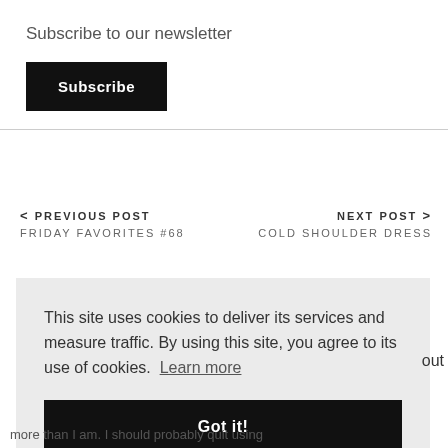Subscribe to our newsletter
Subscribe
< PREVIOUS POST
FRIDAY FAVORITES #68
NEXT POST >
COLD SHOULDER DRESS
This site uses cookies to deliver its services and measure traffic. By using this site, you agree to its use of cookies. Learn more
Got it!
out
more than I am. I should probably quit using